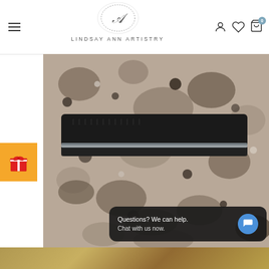LINDSAY ANN ARTISTRY
[Figure (photo): Close-up photo of a black velcro or fabric hair clip/strip on a granite countertop surface]
Questions? We can help. Chat with us now.
[Figure (photo): Partial bottom strip showing another product image]